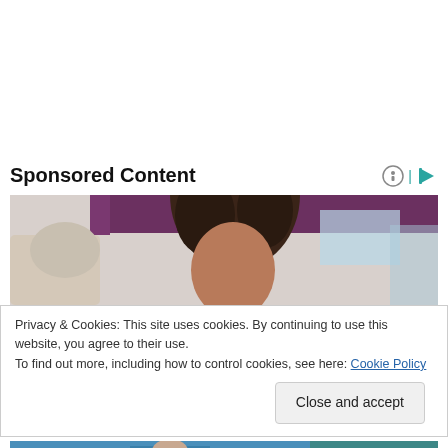Sponsored Content
[Figure (photo): Woman with curly hair leaning over, purple curtain in background, partial view of another person]
Privacy & Cookies: This site uses cookies. By continuing to use this website, you agree to their use.
To find out more, including how to control cookies, see here: Cookie Policy
Close and accept
[Figure (photo): Bottom strip of another image showing person in blue scrubs]